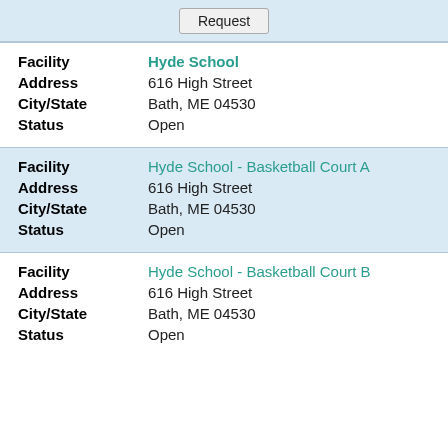Request
| Field | Value |
| --- | --- |
| Facility | Hyde School |
| Address | 616 High Street |
| City/State | Bath, ME 04530 |
| Status | Open |
| Field | Value |
| --- | --- |
| Facility | Hyde School - Basketball Court A |
| Address | 616 High Street |
| City/State | Bath, ME 04530 |
| Status | Open |
| Field | Value |
| --- | --- |
| Facility | Hyde School - Basketball Court B |
| Address | 616 High Street |
| City/State | Bath, ME 04530 |
| Status | Open |